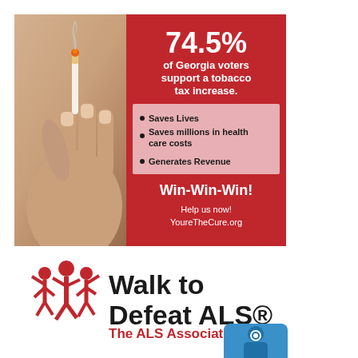[Figure (infographic): Infographic showing a person crushing a cigarette with their fingers on the left, and a red panel on the right with text: '74.5% of Georgia voters support a tobacco tax increase.' Bullet points: Saves Lives, Saves millions in health care costs, Generates Revenue. Win-Win-Win! Help us now! YoureTheCure.org]
[Figure (logo): Walk to Defeat ALS logo with red stylized figures walking/celebrating and text 'Walk to Defeat ALS® The ALS Association']
[Figure (other): Partial blue card or badge icon visible at bottom right corner]